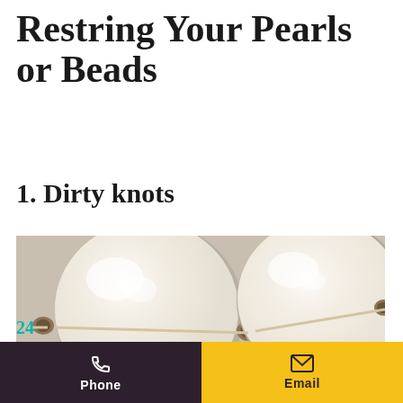Restring Your Pearls or Beads
1. Dirty knots
[Figure (photo): Close-up photograph of two large white pearls on a necklace string, with darkened knots visible between and beside the pearls. The pearls have a lustrous, creamy white appearance with subtle highlights.]
24  Phone  Email